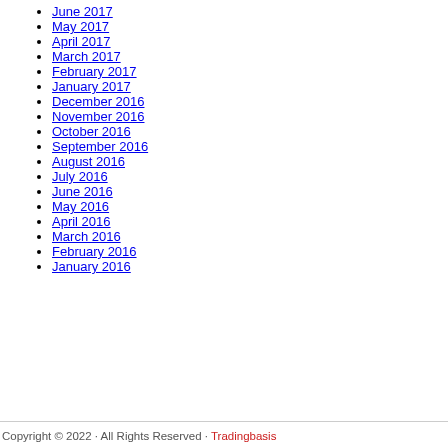June 2017
May 2017
April 2017
March 2017
February 2017
January 2017
December 2016
November 2016
October 2016
September 2016
August 2016
July 2016
June 2016
May 2016
April 2016
March 2016
February 2016
January 2016
Copyright © 2022 · All Rights Reserved · Tradingbasis